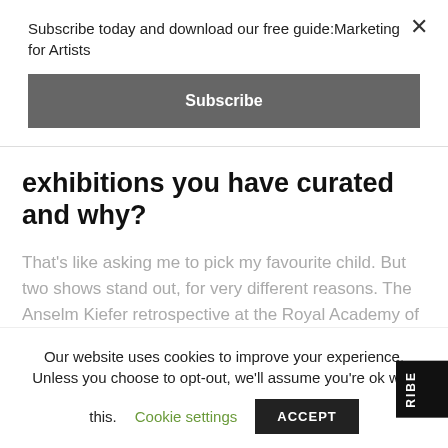Subscribe today and download our free guide:Marketing for Artists
Subscribe
exhibitions you have curated and why?
That's like asking me to pick my favourite child. But two shows stand out, for very different reasons. The Anselm Kiefer retrospective at the Royal Academy of Arts in 2014 felt like a huge personal achievement – working
Our website uses cookies to improve your experience. Unless you choose to opt-out, we'll assume you're ok with this.
Cookie settings
ACCEPT
RIBE